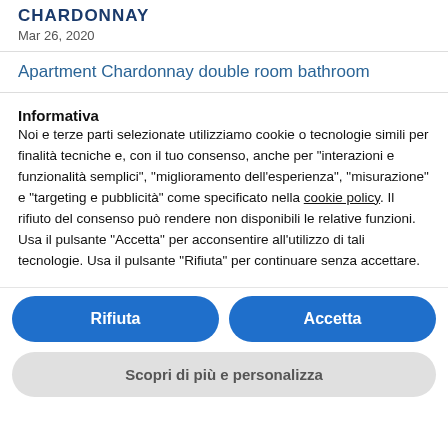CHARDONNAY
Mar 26, 2020
Apartment Chardonnay double room bathroom
Informativa
Noi e terze parti selezionate utilizziamo cookie o tecnologie simili per finalità tecniche e, con il tuo consenso, anche per “interazioni e funzionalità semplici”, “miglioramento dell’esperienza”, “misurazione” e “targeting e pubblicità” come specificato nella cookie policy. Il rifiuto del consenso può rendere non disponibili le relative funzioni.
Usa il pulsante “Accetta” per acconsentire all’utilizzo di tali tecnologie. Usa il pulsante “Rifiuta” per continuare senza accettare.
Rifiuta
Accetta
Scopri di più e personalizza